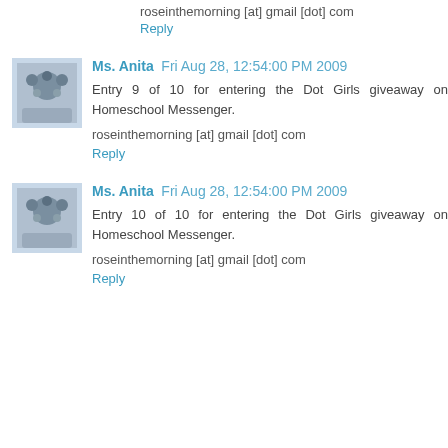roseinthemorning [at] gmail [dot] com
Reply
Ms. Anita  Fri Aug 28, 12:54:00 PM 2009
Entry 9 of 10 for entering the Dot Girls giveaway on Homeschool Messenger.
roseinthemorning [at] gmail [dot] com
Reply
Ms. Anita  Fri Aug 28, 12:54:00 PM 2009
Entry 10 of 10 for entering the Dot Girls giveaway on Homeschool Messenger.
roseinthemorning [at] gmail [dot] com
Reply